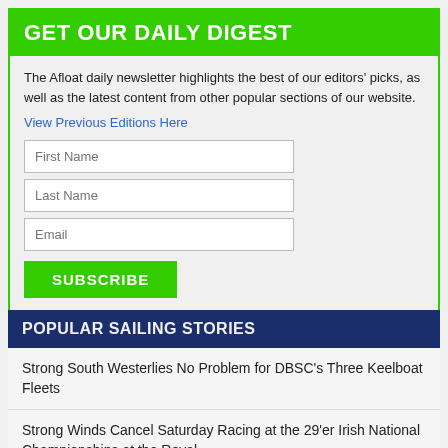GET OUR DAILY DIGEST
The Afloat daily newsletter highlights the best of our editors' picks, as well as the latest content from other popular sections of our website.
View Previous Editions Here
First Name
Last Name
Email
SUBSCRIBE
We will only ever use your details to send you our enews and never pass them onto third parties.
POPULAR SAILING STORIES
Strong South Westerlies No Problem for DBSC's Three Keelboat Fleets
Strong Winds Cancel Saturday Racing at the 29'er Irish National Championships at the Royal St. George Yacht Club